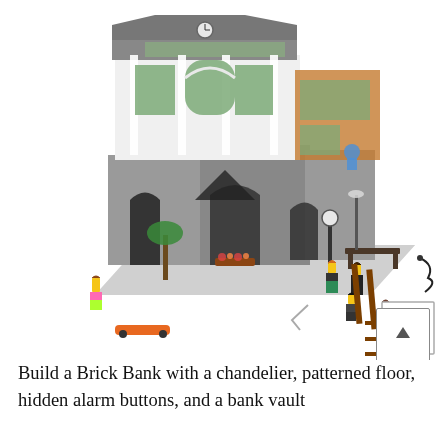[Figure (photo): Product photo of the LEGO Brick Bank modular building set (set 10251). The model shows a detailed multi-story neoclassical bank building with green-framed windows, ornate facade, arched doorways, a clock on the exterior, a sidewalk with a bench, a street lamp, and several LEGO minifigures around it including people on the street. Accessories visible include a ladder, a skateboard, a rope/cord, a palm tree, and a bicycle. A scroll-up arrow button is visible in the lower right of the image area.]
Build a Brick Bank with a chandelier, patterned floor, hidden alarm buttons, and a bank vault